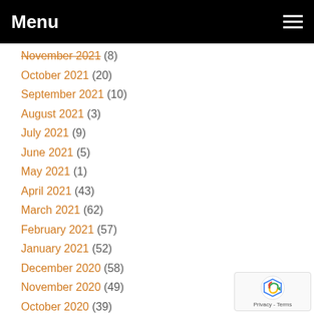Menu
November 2021 (8)
October 2021 (20)
September 2021 (10)
August 2021 (3)
July 2021 (9)
June 2021 (5)
May 2021 (1)
April 2021 (43)
March 2021 (62)
February 2021 (57)
January 2021 (52)
December 2020 (58)
November 2020 (49)
October 2020 (39)
September 2020 (28)
August 2020 (22)
July 2020 (24)
June 2020 (16)
May 2020 (44)